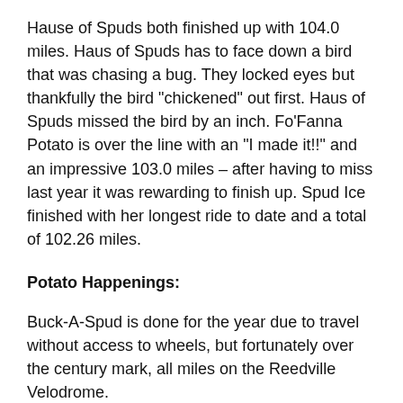Hause of Spuds both finished up with 104.0 miles. Haus of Spuds has to face down a bird that was chasing a bug. They locked eyes but thankfully the bird "chickened" out first. Haus of Spuds missed the bird by an inch. Fo'Fanna Potato is over the line with an "I made it!!" and an impressive 103.0 miles – after having to miss last year it was rewarding to finish up. Spud Ice finished with her longest ride to date and a total of 102.26 miles.
Potato Happenings:
Buck-A-Spud is done for the year due to travel without access to wheels, but fortunately over the century mark, all miles on the Reedville Velodrome.
Grape Tater is back in the saddle again and looking toward the finish line and another magnet. Had to take